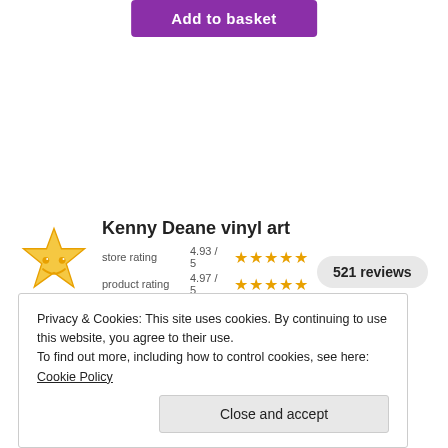[Figure (other): Purple 'Add to basket' button at top center]
[Figure (other): Kenny Deane vinyl art store rating widget with yellow smiley star icon, store rating 4.93/5 with orange stars, product rating 4.97/5 with orange stars, and 521 reviews badge]
Privacy & Cookies: This site uses cookies. By continuing to use this website, you agree to their use. To find out more, including how to control cookies, see here: Cookie Policy
Close and accept